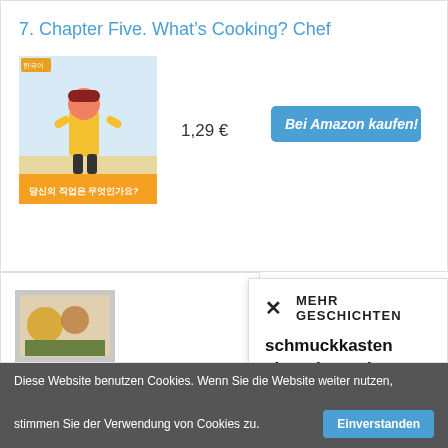7. Chapter Five. What's Cooking? Chef
[Figure (illustration): Book cover showing animated character in yellow outfit with helmet, Korean text at bottom on orange/yellow background]
1,29 €
Bei Amazon kaufen!
8. Virtu... Cookin...
[Figure (illustration): Book cover partially visible]
× MEHR GESCHICHTEN
schmuckkasten charminster iv paulownia teilmassiv maison belfort
Diese Website benutzen Cookies. Wenn Sie die Website weiter nutzen, stimmen Sie der Verwendung von Cookies zu.
Einverstanden